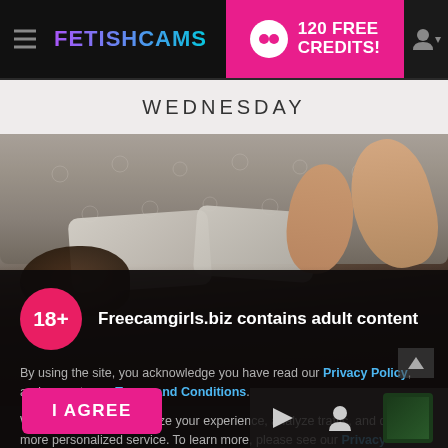FETISHCAMS — 120 FREE CREDITS!
WEDNESDAY
[Figure (photo): Woman lying on a bed with tufted headboard and pillows, legs raised, tattooed, partially clothed — adult content website preview image]
18+  Freecamgirls.biz contains adult content
By using the site, you acknowledge you have read our Privacy Policy, and agree to our Terms and Conditions.
We use cookies to optimize your experience, analyze traffic, and deliver more personalized service. To learn more, please see our Privacy Policy.
I AGREE